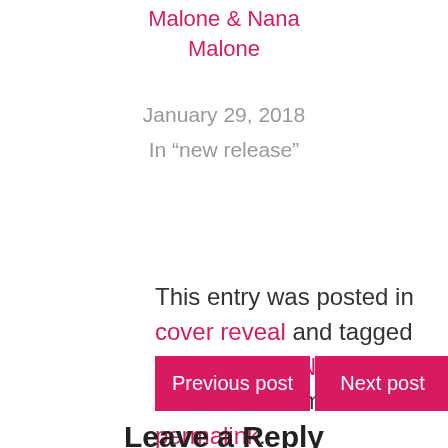Malone & Nana Malone
January 29, 2018
In "new release"
This entry was posted in cover reveal and tagged cover reveal, Nana Malone. Bookmark the permalink.
Previous post
Next post
Leave a Reply